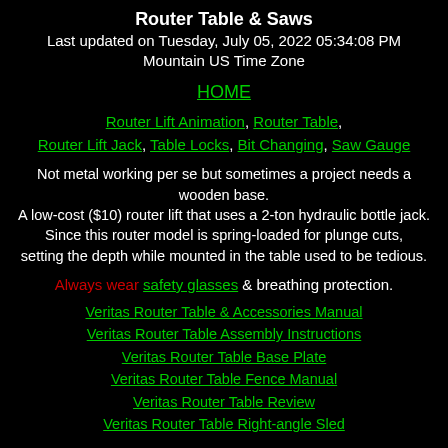Router Table & Saws
Last updated on Tuesday, July 05, 2022 05:34:08 PM Mountain US Time Zone
HOME
Router Lift Animation, Router Table, Router Lift Jack, Table Locks, Bit Changing, Saw Gauge
Not metal working per se but sometimes a project needs a wooden base.
A low-cost ($10) router lift that uses a 2-ton hydraulic bottle jack. Since this router model is spring-loaded for plunge cuts,
setting the depth while mounted in the table used to be tedious.
Always wear safety glasses & breathing protection.
Veritas Router Table & Accessories Manual
Veritas Router Table Assembly Instructions
Veritas Router Table Base Plate
Veritas Router Table Fence Manual
Veritas Router Table Review
Veritas Router Table Right-angle Sled